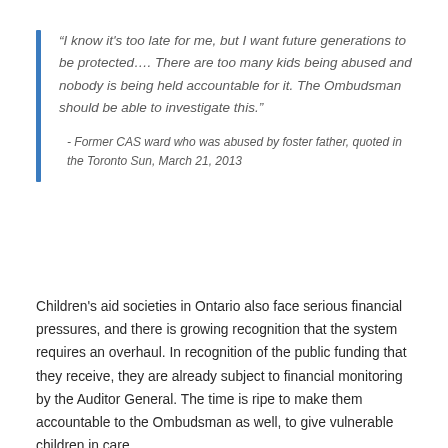“I know it's too late for me, but I want future generations to be protected…. There are too many kids being abused and nobody is being held accountable for it. The Ombudsman should be able to investigate this.”

- Former CAS ward who was abused by foster father, quoted in the Toronto Sun, March 21, 2013
Children’s aid societies in Ontario also face serious financial pressures, and there is growing recognition that the system requires an overhaul. In recognition of the public funding that they receive, they are already subject to financial monitoring by the Auditor General. The time is ripe to make them accountable to the Ombudsman as well, to give vulnerable children in care